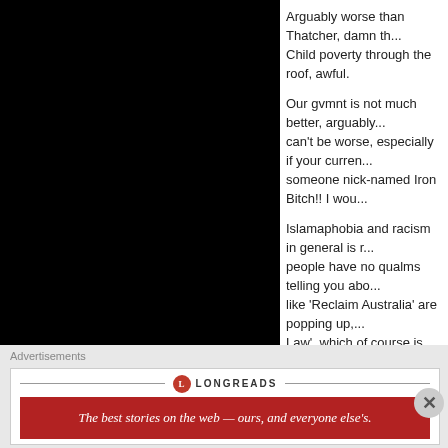Arguably worse than Thatcher, damn th... Child poverty through the roof, awful.
Our gvmnt is not much better, arguably... can't be worse, especially if your curren... someone nick-named Iron Bitch!! I wou...
Islamaphobia and racism in general is r... people have no qualms telling you abo... like 'Reclaim Australia' are popping up,... Law', which of course is nothing like wh... thousands of years ago, y'know? Its lik... and 2000 years later the 'Sharia Law' th... post on their facebook pages uses lang... been used back then!
This country is also filled with fuckhead... on immigrants and Islam. We are also h... pensions slashed
I was going to ask you how you felt abo... independence but it seemed like a silly...
Sorry for the long arse reply, it is just ve... your viewpoints as a Scot, as one...
Advertisements
[Figure (other): Longreads advertisement banner. Logo with circle L icon, LONGREADS text with decorative lines, red box with tagline: The best stories on the web — ours, and everyone else's.]